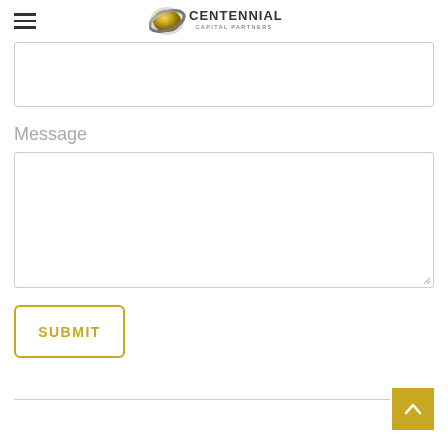Centennial Capital Partners
Message
[Figure (screenshot): Contact form with a textarea input labeled Message, a SUBMIT button with gold/yellow border and text, a horizontal divider line, and a gold back-to-top arrow button at bottom right.]